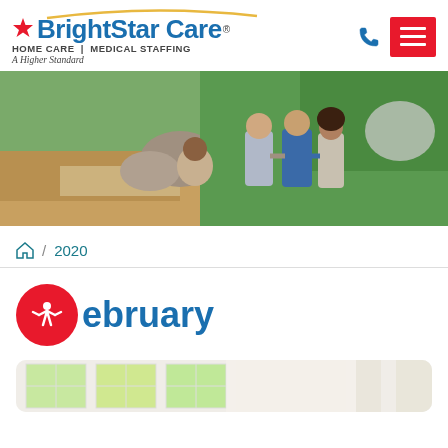[Figure (logo): BrightStar Care logo with star, arc, tagline HOME CARE | MEDICAL STAFFING, A Higher Standard]
[Figure (photo): Hero banner photo showing three women walking outdoors near rocks and greenery — one in blue scrubs, one elderly person, one younger woman]
🏠 / 2020
February
[Figure (photo): Partial bottom card showing a bright indoor room with windows and curtains]